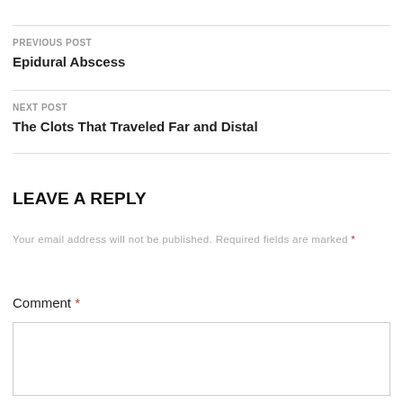PREVIOUS POST
Epidural Abscess
NEXT POST
The Clots That Traveled Far and Distal
LEAVE A REPLY
Your email address will not be published. Required fields are marked *
Comment *